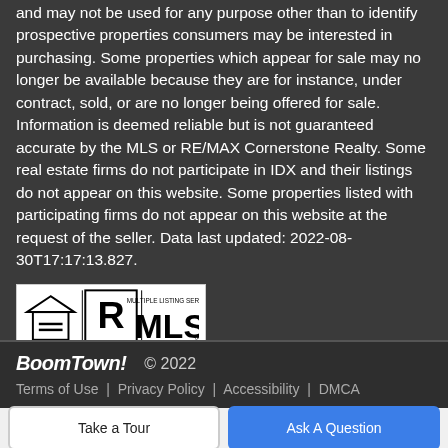and may not be used for any purpose other than to identify prospective properties consumers may be interested in purchasing. Some properties which appear for sale may no longer be available because they are for instance, under contract, sold, or are no longer being offered for sale. Information is deemed reliable but is not guaranteed accurate by the MLS or RE/MAX Cornerstone Realty. Some real estate firms do not participate in IDX and their listings do not appear on this website. Some properties listed with participating firms do not appear on this website at the request of the seller. Data last updated: 2022-08-30T17:17:13.827.
[Figure (logo): Equal Housing Opportunity, REALTOR, and MLS logos]
BoomTown! © 2022
Terms of Use | Privacy Policy | Accessibility | DMCA